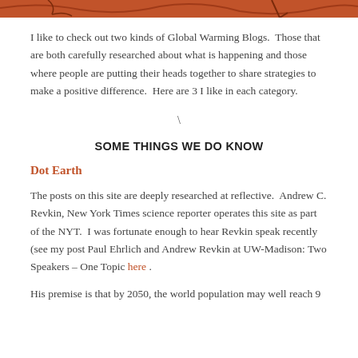[Figure (photo): Top banner image with brown/orange tones, partially visible illustration or photograph]
I like to check out two kinds of Global Warming Blogs.  Those that are both carefully researched about what is happening and those where people are putting their heads together to share strategies to make a positive difference.  Here are 3 I like in each category.
\
SOME THINGS WE DO KNOW
Dot Earth
The posts on this site are deeply researched at reflective.  Andrew C. Revkin, New York Times science reporter operates this site as part of the NYT.  I was fortunate enough to hear Revkin speak recently (see my post Paul Ehrlich and Andrew Revkin at UW-Madison: Two Speakers – One Topic here .
His premise is that by 2050, the world population may well reach 9